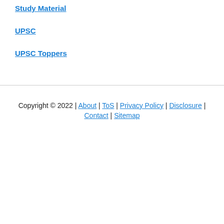Study Material
UPSC
UPSC Toppers
Copyright © 2022 | About | ToS | Privacy Policy | Disclosure | Contact | Sitemap